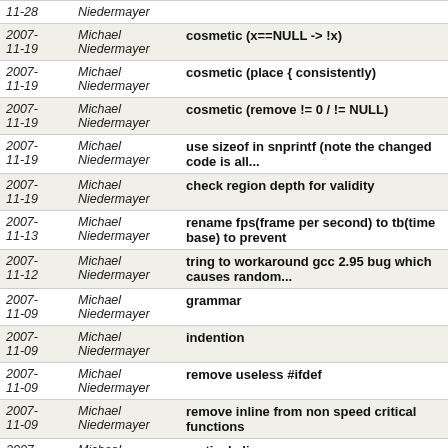| Date | Author | Message |
| --- | --- | --- |
| 2007-11-28 | Niedermayer |  |
| 2007-11-19 | Michael Niedermayer | cosmetic (x==NULL -> !x) |
| 2007-11-19 | Michael Niedermayer | cosmetic (place { consistently) |
| 2007-11-19 | Michael Niedermayer | cosmetic (remove != 0 / != NULL) |
| 2007-11-19 | Michael Niedermayer | use sizeof in snprintf (note the changed code is all... |
| 2007-11-19 | Michael Niedermayer | check region depth for validity |
| 2007-11-13 | Michael Niedermayer | rename fps(frame per second) to tb(time base) to prevent |
| 2007-11-12 | Michael Niedermayer | tring to workaround gcc 2.95 bug which causes random... |
| 2007-11-09 | Michael Niedermayer | grammar |
| 2007-11-09 | Michael Niedermayer | indention |
| 2007-11-09 | Michael Niedermayer | remove useless #ifdef |
| 2007-11-09 | Michael Niedermayer | remove inline from non speed critical functions |
| 2007-11-09 | Michael Niedermayer | vertical align |
| 2007-11-09 | Michael Niedermayer | indention |